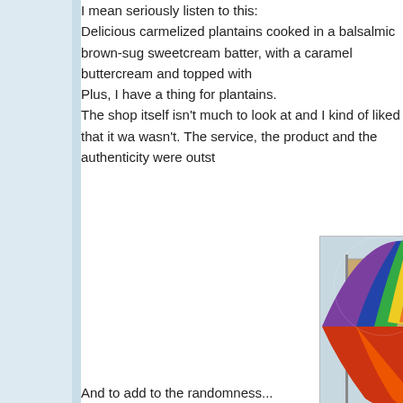I mean seriously listen to this:
Delicious carmelized plantains cooked in a balsalmic brown-sugar sweetcream batter, with a caramel buttercream and topped with
Plus, I have a thing for plantains.
The shop itself isn't much to look at and I kind of liked that it wa... wasn't. The service, the product and the authenticity were outst...
[Figure (photo): Outdoor scene showing a large colorful hot air balloon (red, orange, yellow, green, blue, purple) partially inflated near a billboard that reads 'Non-stop Dubai. Daily flights start March...' with cars (white and yellow Chevrolet Camaro) in a parking lot below, and trees in the background.]
And to add to the randomness...